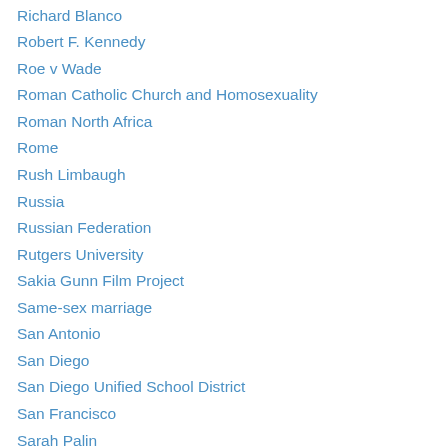Richard Blanco
Robert F. Kennedy
Roe v Wade
Roman Catholic Church and Homosexuality
Roman North Africa
Rome
Rush Limbaugh
Russia
Russian Federation
Rutgers University
Sakia Gunn Film Project
Same-sex marriage
San Antonio
San Diego
San Diego Unified School District
San Francisco
Sarah Palin
School and church shootings
Scott Lively
Seattle